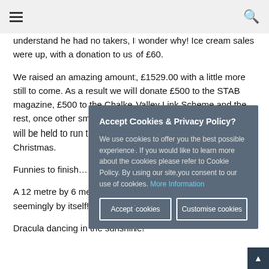☰  🔍
understand he had no takers, I wonder why! Ice cream sales were up, with a donation to us of £60.
We raised an amazing amount, £1529.00 with a little more still to come. As a result we will donate £500 to the STAB magazine, £500 to the Chalke Valley Link Scheme and the rest, once other small costs and donations are subtracted will be held to run the next event, probably around Christmas.
Funnies to finish……
A 12 metre by 6 metre marquee being turned sideways seemingly by itself!
Dracula dancing in the sunshine!
[Figure (screenshot): Cookie consent modal dialog with title 'Accept Cookies & Privacy Policy?', body text about cookies, and two buttons: 'Accept cookies' and 'Customise cookies']